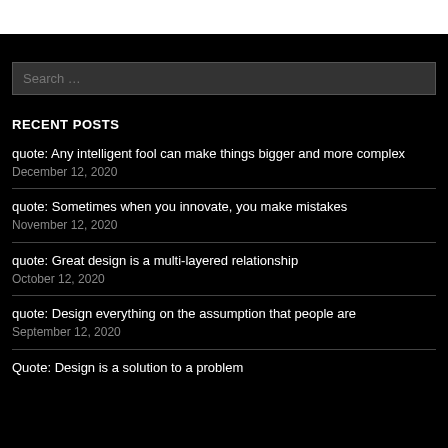Search …
RECENT POSTS
quote: Any intelligent fool can make things bigger and more complex
December 12, 2020
quote: Sometimes when you innovate, you make mistakes
November 12, 2020
quote: Great design is a multi-layered relationship
October 12, 2020
quote: Design everything on the assumption that people are
September 12, 2020
Quote: Design is a solution to a problem